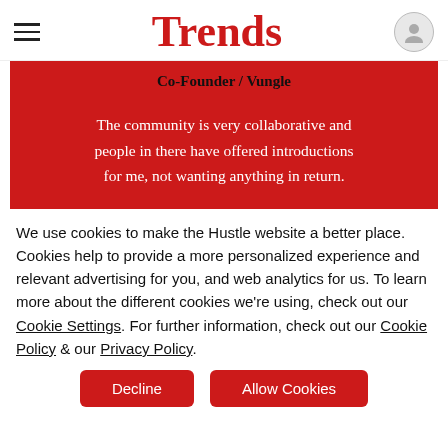Trends
Co-Founder / Vungle
The community is very collaborative and people in there have offered introductions for me, not wanting anything in return.
We use cookies to make the Hustle website a better place. Cookies help to provide a more personalized experience and relevant advertising for you, and web analytics for us. To learn more about the different cookies we're using, check out our Cookie Settings. For further information, check out our Cookie Policy & our Privacy Policy.